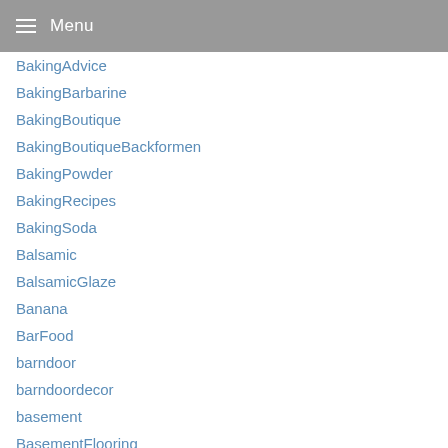Menu
BakingAdvice
BakingBarbarine
BakingBoutique
BakingBoutiqueBackformen
BakingPowder
BakingRecipes
BakingSoda
Balsamic
BalsamicGlaze
Banana
BarFood
barndoor
barndoordecor
basement
BasementFlooring
Basics
bathroom